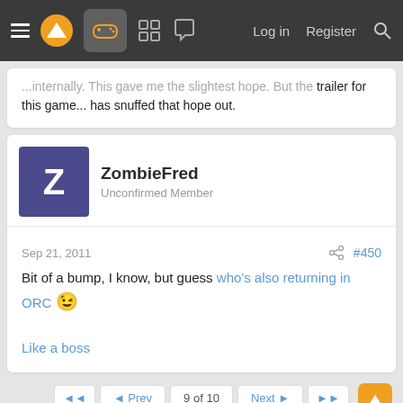Navigation bar with hamburger menu, logo, gamepad icon, grid icon, chat icon, Log in, Register, Search
trailer for this game... has snuffed that hope out.
ZombieFred
Unconfirmed Member
Sep 21, 2011  #450
Bit of a bump, I know, but guess who's also returning in ORC 😉

Like a boss
◄◄  ◄ Prev  9 of 10  Next ►  ►► | You must log in or register to reply here.